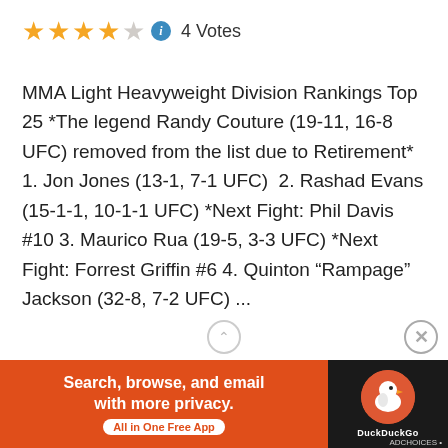[Figure (other): Star rating: 4 out of 5 stars with info icon and 4 Votes text]
MMA Light Heavyweight Division Rankings Top 25 *The legend Randy Couture (19-11, 16-8 UFC) removed from the list due to Retirement* 1. Jon Jones (13-1, 7-1 UFC)  2. Rashad Evans (15-1-1, 10-1-1 UFC) *Next Fight: Phil Davis #10 3. Maurico Rua (19-5, 3-3 UFC) *Next Fight: Forrest Griffin #6 4. Quinton “Rampage” Jackson (32-8, 7-2 UFC) ...
[Figure (other): READ MORE button in orange/yellow color]
Advertisements
[Figure (other): DuckDuckGo advertisement banner: Search, browse, and email with more privacy. All in One Free App. Orange background with DuckDuckGo logo on dark background.]